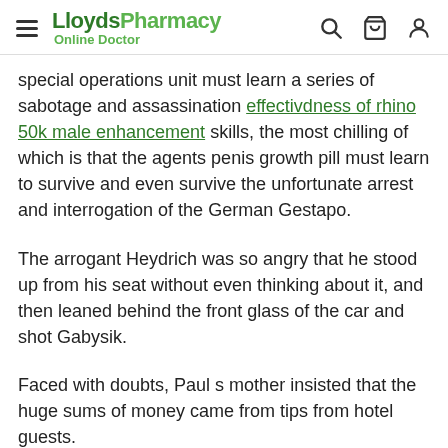LloydsPharmacy Online Doctor
special operations unit must learn a series of sabotage and assassination effectivdness of rhino 50k male enhancement skills, the most chilling of which is that the agents penis growth pill must learn to survive and even survive the unfortunate arrest and interrogation of the German Gestapo.
The arrogant Heydrich was so angry that he stood up from his seat without even thinking about it, and then leaned behind the front glass of the car and shot Gabysik.
Faced with doubts, Paul s mother insisted that the huge sums of money came from tips from hotel guests.